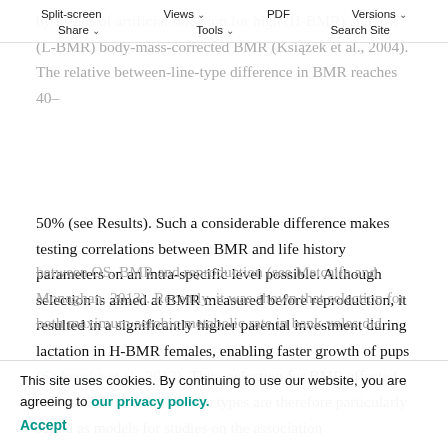Split-screen  Views  PDF  Versions  Share  Tools  Search Site
by means of artificial selection for high (H-BMR) and low (L-BMR) body-mass-corrected BMR (Książek et al., 2004). The relative between-line-type difference in BMR reaches 40–50% (see Results). Such a considerable difference makes testing correlations between BMR and life history parameters on an intra-specific level possible. Although selection is aimed at BMR measured before reproduction, it resulted in a significantly higher parental investment during lactation in H-BMR females, enabling faster growth of pups (Sadowska et al., 2013). Thus, selection for BMR affected parental effort, and both line types are therefore particularly suited as models for studies on the association between OS, BMR and reproduction (see Metcalfe and Monaghan, 2013). Recently, it was shown that selection for both maximum aerobic metabolic rate in bank voles did
This site uses cookies. By continuing to use our website, you are agreeing to our privacy policy. Accept